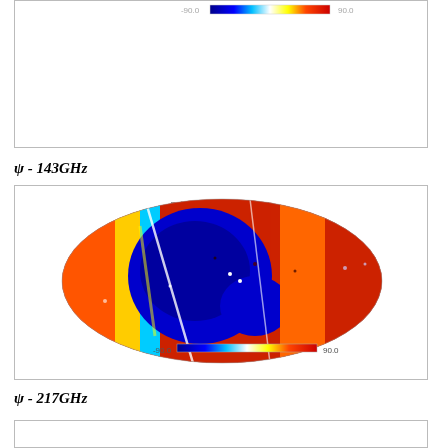[Figure (continuous-plot): Partial sky map of Psi Angle [deg] at 143 GHz, showing Mollweide projection with blue-to-red colorscale from -90.0 to 90.0 degrees. Mostly cut off at top of page.]
ψ - 143GHz
[Figure (continuous-plot): Sky map of Psi Angle [deg] at 217 GHz, showing Mollweide projection with blue-to-red colorscale from -90.0 to 90.0 degrees. Title reads 'Psi Angle [deg] - 217 GHz'. Colorbar below map shows -90.0 to 90.0.]
ψ - 217GHz
[Figure (continuous-plot): Partial sky map, bottom of page, cut off. Same style Mollweide projection.]